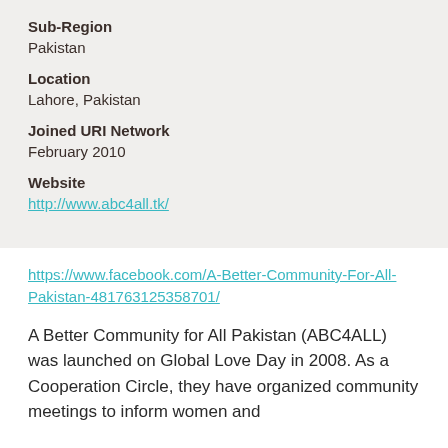Sub-Region
Pakistan
Location
Lahore, Pakistan
Joined URI Network
February 2010
Website
http://www.abc4all.tk/
https://www.facebook.com/A-Better-Community-For-All-Pakistan-481763125358701/
A Better Community for All Pakistan (ABC4ALL) was launched on Global Love Day in 2008. As a Cooperation Circle, they have organized community meetings to inform women and